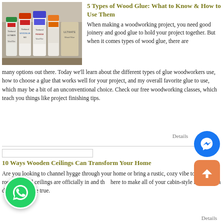[Figure (photo): Shelf with multiple wood glue bottles including Titebond Ultimate, Titebond II, WoodGlue Max, and Titebond Premium brands in a store.]
5 Types of Wood Glue: What to Know & How to Use Them
When making a woodworking project, you need good joinery and good glue to hold your project together. But when it comes types of wood glue, there are many options out there. Today we'll learn about the different types of glue woodworkers use, how to choose a glue that works well for your project, and my overall favorite glue to use, which may be a bit of an unconventional choice. Check our free woodworking classes, which teach you things like project finishing tips.
10 Ways Wooden Ceilings Can Transform Your Home
Are you looking to channel hygge through your home or bring a rustic, cozy vibe to every room?. Wood ceilings are officially in and there to make all of your cabin-style living room dreams come true.